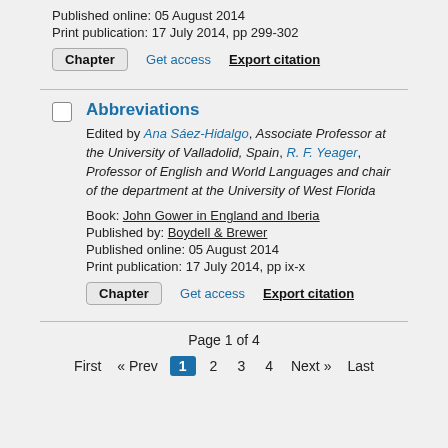Published online: 05 August 2014
Print publication: 17 July 2014, pp 299-302
Chapter  Get access  Export citation
Abbreviations
Edited by Ana Sáez-Hidalgo, Associate Professor at the University of Valladolid, Spain, R. F. Yeager, Professor of English and World Languages and chair of the department at the University of West Florida
Book: John Gower in England and Iberia
Published by: Boydell & Brewer
Published online: 05 August 2014
Print publication: 17 July 2014, pp ix-x
Chapter  Get access  Export citation
Page 1 of 4
First  « Prev  1  2  3  4  Next »  Last